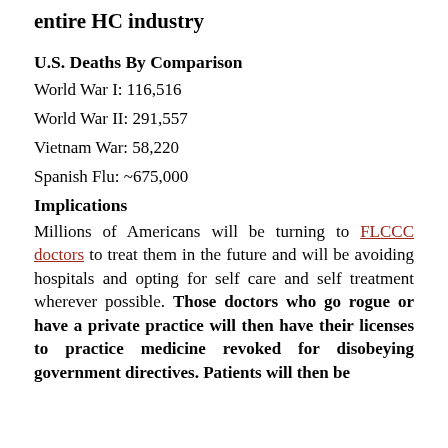entire HC industry
U.S. Deaths By Comparison
World War I: 116,516
World War II: 291,557
Vietnam War: 58,220
Spanish Flu: ~675,000
Implications
Millions of Americans will be turning to FLCCC doctors to treat them in the future and will be avoiding hospitals and opting for self care and self treatment wherever possible. Those doctors who go rogue or have a private practice will then have their licenses to practice medicine revoked for disobeying government directives. Patients will then be